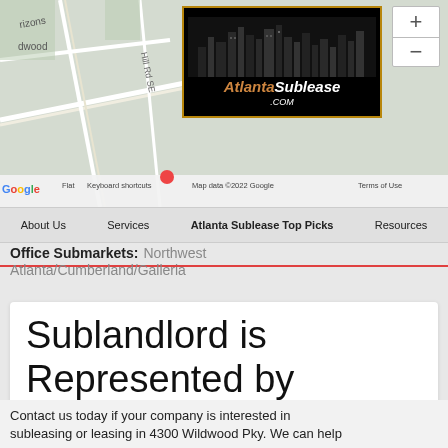[Figure (map): Google Maps screenshot showing Wildwood area near Atlanta with street labels and zoom controls]
About Us  Services  Atlanta Sublease Top Picks  Resources
Office Submarkets: Northwest
Atlanta/Cumberland/Galleria
Sublandlord is Represented by
Sublease Listing Company: JLL
Contact us today if your company is interested in subleasing or leasing in 4300 Wildwood Pky. We can help